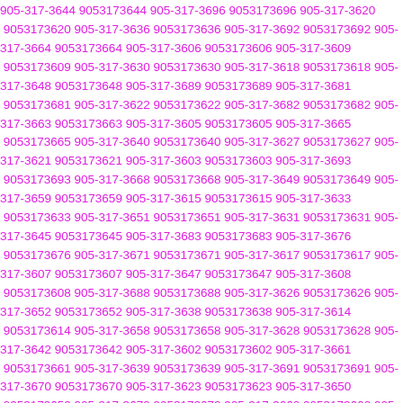905-317-3644 9053173644 905-317-3696 9053173696 905-317-3620 9053173620 905-317-3636 9053173636 905-317-3692 9053173692 905-317-3664 9053173664 905-317-3606 9053173606 905-317-3609 9053173609 905-317-3630 9053173630 905-317-3618 9053173618 905-317-3648 9053173648 905-317-3689 9053173689 905-317-3681 9053173681 905-317-3622 9053173622 905-317-3682 9053173682 905-317-3663 9053173663 905-317-3605 9053173605 905-317-3665 9053173665 905-317-3640 9053173640 905-317-3627 9053173627 905-317-3621 9053173621 905-317-3603 9053173603 905-317-3693 9053173693 905-317-3668 9053173668 905-317-3649 9053173649 905-317-3659 9053173659 905-317-3615 9053173615 905-317-3633 9053173633 905-317-3651 9053173651 905-317-3631 9053173631 905-317-3645 9053173645 905-317-3683 9053173683 905-317-3676 9053173676 905-317-3671 9053173671 905-317-3617 9053173617 905-317-3607 9053173607 905-317-3647 9053173647 905-317-3608 9053173608 905-317-3688 9053173688 905-317-3626 9053173626 905-317-3652 9053173652 905-317-3638 9053173638 905-317-3614 9053173614 905-317-3658 9053173658 905-317-3628 9053173628 905-317-3642 9053173642 905-317-3602 9053173602 905-317-3661 9053173661 905-317-3639 9053173639 905-317-3691 9053173691 905-317-3670 9053173670 905-317-3623 9053173623 905-317-3650 9053173650 905-317-3672 9053173672 905-317-3660 9053173660 905-317-3690 9053173690 905-317-3625 9053173625 905-317-3666 9053173666 905-317-3674 9053173674 905-317-3698 9053173698 905-317-3678 9053173678 905-317-3619 9053173619 905-317-3610 9053173610 905-317-3616 9053173616 905-317-3679 905317...